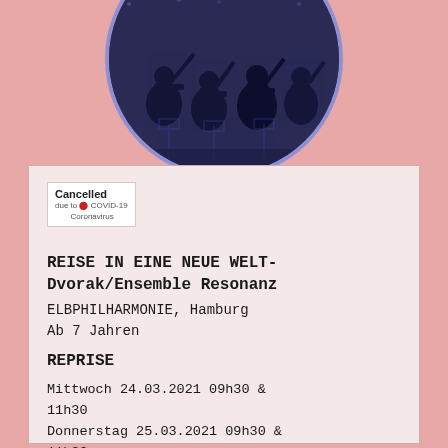[Figure (photo): Circular cropped photo of an orchestra ensemble performing on stage with blue lighting backdrop, framed by a lavender/periwinkle circular border]
[Figure (illustration): Cancelled badge/stamp: white rectangle with bold text 'Cancelled' and smaller text 'due to COVID-19 Coronavirus' with a red virus icon]
REISE IN EINE NEUE WELT- Dvorak/Ensemble Resonanz
ELBPHILHARMONIE, Hamburg
Ab 7 Jahren
REPRISE
Mittwoch 24.03.2021 09h30 & 11h30
Donnerstag 25.03.2021 09h30 & 11h30
Freitag 26.03.2021 09h30 & 11h30